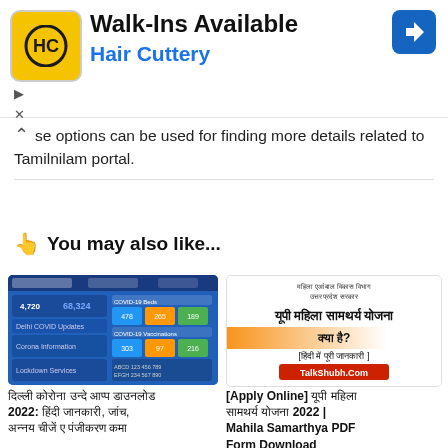[Figure (screenshot): Ad banner for Hair Cuttery: Walk-ins Available with logo and navigation arrow icon]
se options can be used for finding more details related to Tamilnilam portal.
👆 You may also like...
[Figure (screenshot): Screenshot of Delhi Corona app showing COVID-19 stats: 4,720 and 68,324 numbers, COVID-19 Beds, Corona Information, Lockdown Services sections]
[Hindi text] 2022: [Hindi text], [Hindi text], [Hindi text] & [Hindi text] [Hindi text]
[Figure (infographic): UP Mahila Samarthy Yojana infographic in Hindi with TalkShubh.Com branding]
[Apply Online] [Hindi text] 2022 | Mahila Samarthya PDF Form Download